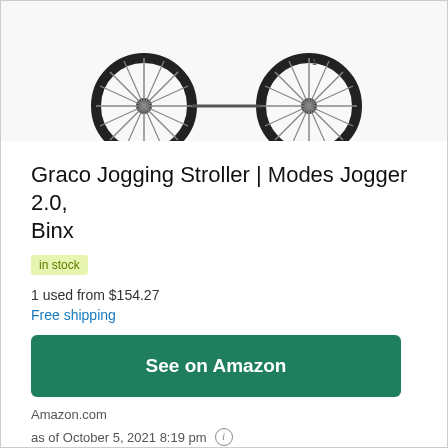[Figure (photo): Partial top view of a Graco jogging stroller showing two large bicycle-style wheels with spokes on a white background]
Graco Jogging Stroller | Modes Jogger 2.0, Binx
in stock
1 used from $154.27
Free shipping
See on Amazon
Amazon.com
as of October 5, 2021 8:19 pm
Features
7 ways to walk, jog, or run together as your child grows